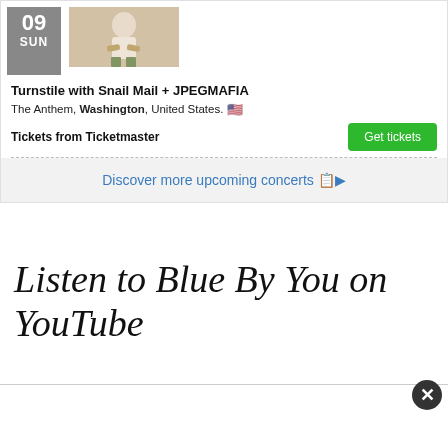09 SUN
[Figure (photo): A photo of a person in a white shirt with a patterned skirt/shorts, pink background]
Turnstile with Snail Mail + JPEGMAFIA
The Anthem, Washington, United States. 🇺🇸
Tickets from Ticketmaster
Get tickets
Discover more upcoming concerts 📋▶
Listen to Blue By You on YouTube